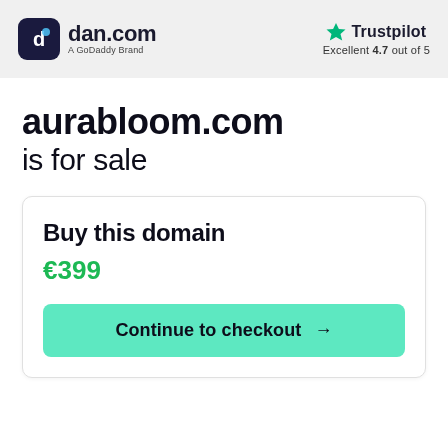dan.com – A GoDaddy Brand | Trustpilot Excellent 4.7 out of 5
aurabloom.com is for sale
Buy this domain
€399
Continue to checkout →